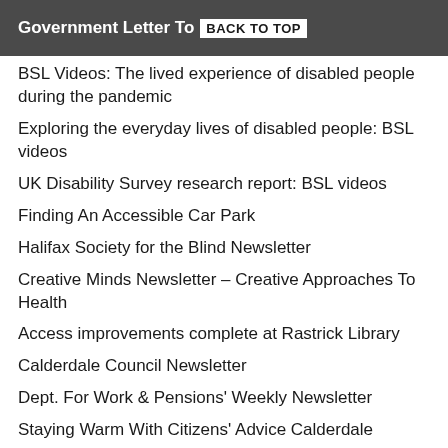Government Letter To BACK TO TOP
BSL Videos: The lived experience of disabled people during the pandemic
Exploring the everyday lives of disabled people: BSL videos
UK Disability Survey research report: BSL videos
Finding An Accessible Car Park
Halifax Society for the Blind Newsletter
Creative Minds Newsletter – Creative Approaches To Health
Access improvements complete at Rastrick Library
Calderdale Council Newsletter
Dept. For Work & Pensions' Weekly Newsletter
Staying Warm With Citizens' Advice Calderdale
Disability Rights UK Newsletter
Disability Minister replaced in Cabinet reshuffle
New Alerts Transceiver For People With Hearing